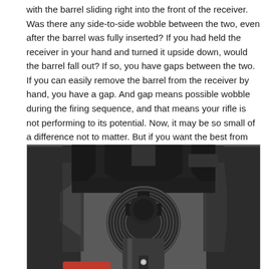with the barrel sliding right into the front of the receiver.  Was there any side-to-side wobble between the two, even after the barrel was fully inserted? If you had held the receiver in your hand and turned it upside down, would the barrel fall out?  If so, you have gaps between the two.  If you can easily remove the barrel from the receiver by hand, you have a gap.  And gap means possible wobble during the firing sequence, and that means your rifle is not performing to its potential. Now, it may be so small of a difference not to matter.  But if you want the best from your build, you need to remove the gap.  Here's how I do it.
[Figure (photo): Close-up photo of a rifle barrel being threaded into a receiver, held in a machining vise. The receiver is clamped in black vise jaws. The barrel's threaded end is visible with concentric threading and a cross-shaped muzzle device visible in the center of the receiver opening.]